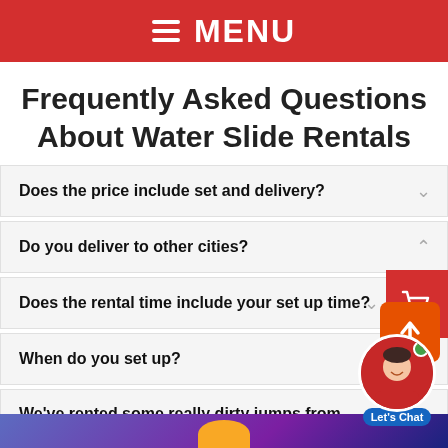≡ MENU
Frequently Asked Questions About Water Slide Rentals
Does the price include set and delivery?
Do you deliver to other cities?
Does the rental time include your set up time?
When do you set up?
We've rented some really dirty jumps from companies in the past. Are they always that dirty?